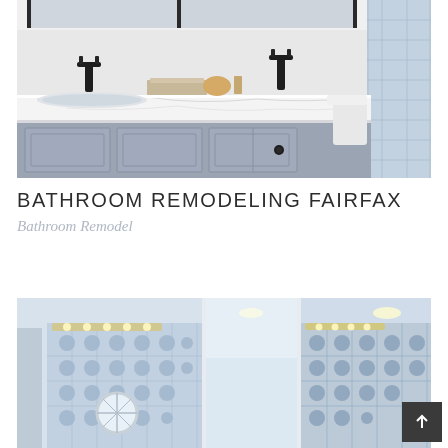[Figure (photo): Bathroom vanity with white quartz countertop, grey cabinet with raised panel doors, dark bronze faucets, and mirror above. Decorative items on counter. Glass shower enclosure visible on right.]
BATHROOM REMODELING FAIRFAX
Bathroom Remodel
[Figure (photo): Bathroom interior viewed through mirrored medicine cabinet panels showing blue and white patterned tile walls, vanity light strip, oval porthole window, and recessed ceiling lights.]